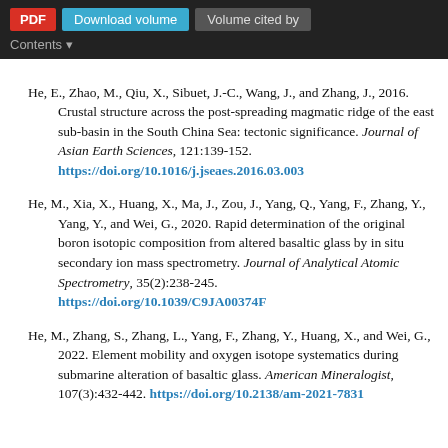PDF | Download volume | Volume cited by | Contents
He, E., Zhao, M., Qiu, X., Sibuet, J.-C., Wang, J., and Zhang, J., 2016. Crustal structure across the post-spreading magmatic ridge of the east sub-basin in the South China Sea: tectonic significance. Journal of Asian Earth Sciences, 121:139-152. https://doi.org/10.1016/j.jseaes.2016.03.003
He, M., Xia, X., Huang, X., Ma, J., Zou, J., Yang, Q., Yang, F., Zhang, Y., Yang, Y., and Wei, G., 2020. Rapid determination of the original boron isotopic composition from altered basaltic glass by in situ secondary ion mass spectrometry. Journal of Analytical Atomic Spectrometry, 35(2):238-245. https://doi.org/10.1039/C9JA00374F
He, M., Zhang, S., Zhang, L., Yang, F., Zhang, Y., Huang, X., and Wei, G., 2022. Element mobility and oxygen isotope systematics during submarine alteration of basaltic glass. American Mineralogist, 107(3):432-442. https://doi.org/10.2138/am-2021-7831